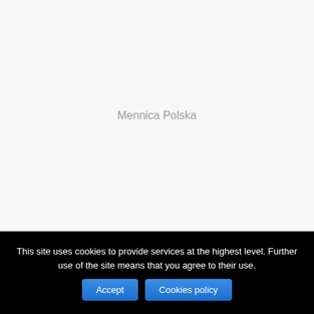Mennica Polska
This site uses cookies to provide services at the highest level. Further use of the site means that you agree to their use.
Accept
Cookies policy